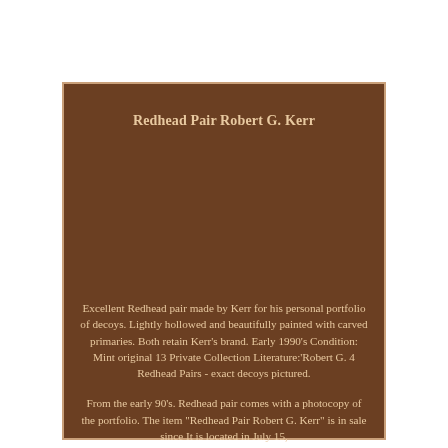Redhead Pair Robert G. Kerr
Excellent Redhead pair made by Kerr for his personal portfolio of decoys. Lightly hollowed and beautifully painted with carved primaries. Both retain Kerr's brand. Early 1990's Condition: Mint original 13 Private Collection Literature:'Robert G. 4 Redhead Pairs - exact decoys pictured.
From the early 90's. Redhead pair comes with a photocopy of the portfolio. The item "Redhead Pair Robert G. Kerr" is in sale since It is located in July 15,